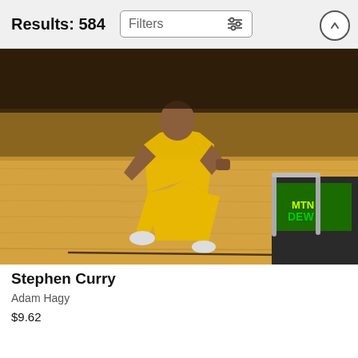Results: 584
Filters
[Figure (photo): Basketball player Stephen Curry wearing a yellow Golden State Warriors uniform celebrating on a hardwood court, captured mid-celebration with fist pumped and mouth open. A Mountain Dew branded courtside display is visible in the background.]
Stephen Curry
Adam Hagy
$9.62